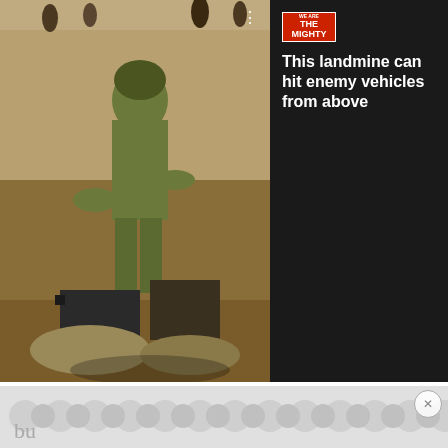[Figure (photo): Advertisement banner showing a soldier in camouflage uniform bending over equipment on sandy ground, with a dark right panel showing 'We Are The Mighty' logo and headline text 'This landmine can hit enemy vehicles from above'. A forward arrow button is visible on the image.]
request or print a pass. I asked a colleague if they could point me in the right direction, and she pointed me to the classified or “high side” system. I must have had a perplexed look on my face because she just rolled her eyes and shrugged. Keep in mind, this pass would not allow me access into the
[Figure (other): Partially visible advertisement with circular pattern background at bottom of page]